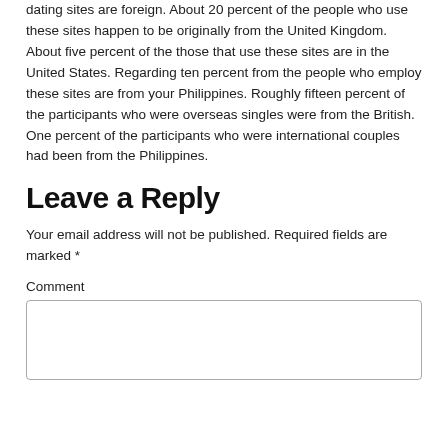dating sites are foreign. About 20 percent of the people who use these sites happen to be originally from the United Kingdom. About five percent of the those that use these sites are in the United States. Regarding ten percent from the people who employ these sites are from your Philippines. Roughly fifteen percent of the participants who were overseas singles were from the British. One percent of the participants who were international couples had been from the Philippines.
Leave a Reply
Your email address will not be published. Required fields are marked *
Comment